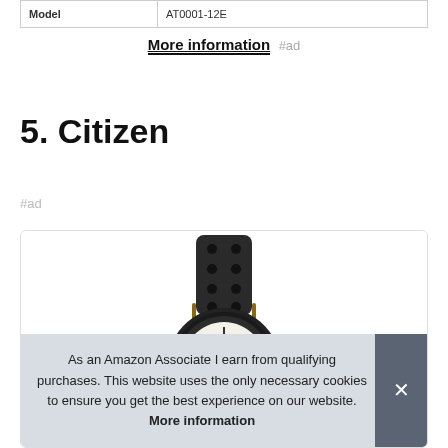| Model |  |
| --- | --- |
| Model | AT0001-12E |
More information #ad
5. Citizen
#ad
[Figure (photo): Citizen watch product photo showing top of watch with perforated leather strap and watch face]
As an Amazon Associate I earn from qualifying purchases. This website uses the only necessary cookies to ensure you get the best experience on our website. More information